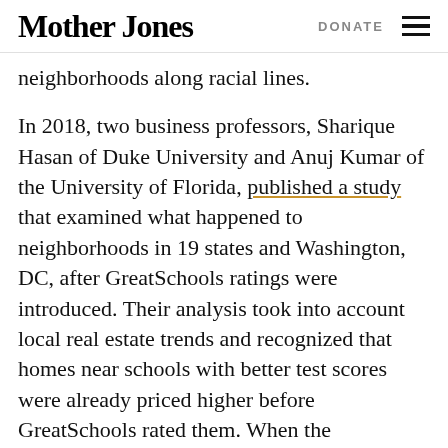Mother Jones  DONATE
neighborhoods along racial lines.
In 2018, two business professors, Sharique Hasan of Duke University and Anuj Kumar of the University of Florida, published a study that examined what happened to neighborhoods in 19 states and Washington, DC, after GreatSchools ratings were introduced. Their analysis took into account local real estate trends and recognized that homes near schools with better test scores were already priced higher before GreatSchools rated them. When the researchers updated their findings this spring by adding seven more states, they found that the gap between average home prices near schools with better ratings increased by more than $16,300 after